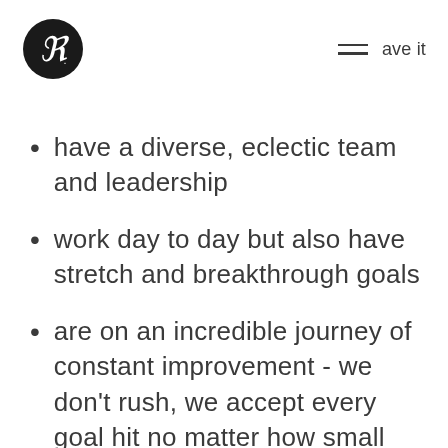ave it
have a diverse, eclectic team and leadership
work day to day but also have stretch and breakthrough goals
are on an incredible journey of constant improvement - we don't rush, we accept every goal hit no matter how small the movement forward, because forward is progress.